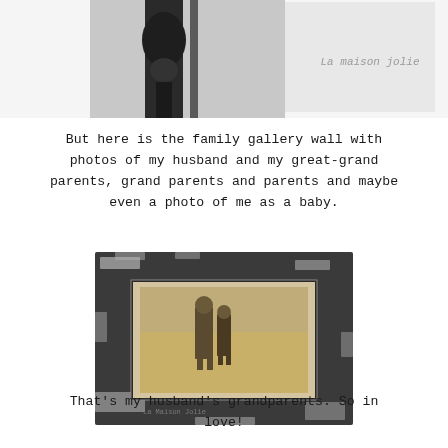[Figure (photo): Partial top image showing decorative dark lamp/spindle on left and watermark text 'La maison jolie' on right, on white background]
But here is the family gallery wall with photos of my husband and my great-grand parents, grand parents and parents and maybe even a photo of me as a baby.
[Figure (photo): A vintage sepia photograph of two children standing together, displayed in a distressed dark wooden frame with white paint wear. Small watermark text 'La Maison Jolie' at bottom left of image.]
That's my husband's grandparents. So in love!